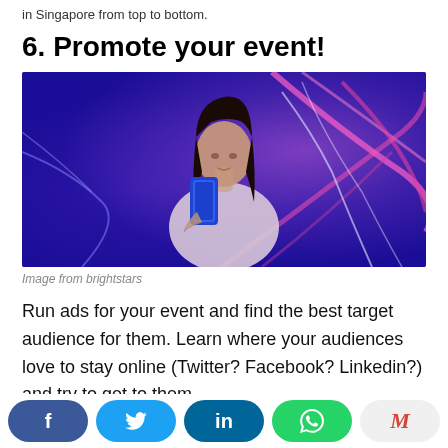in Singapore from top to bottom.
6. Promote your event!
[Figure (photo): Woman in white top holding a blue smartphone, standing against a vibrant purple and pink light-painted background]
Image from brightstars
Run ads for your event and find the best target audience for them. Learn where your audiences love to stay online (Twitter? Facebook? Linkedin?) and try to get to them
Share buttons: Facebook, Twitter, LinkedIn, WhatsApp, Gmail